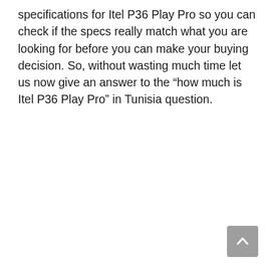specifications for Itel P36 Play Pro so you can check if the specs really match what you are looking for before you can make your buying decision. So, without wasting much time let us now give an answer to the “how much is Itel P36 Play Pro” in Tunisia question.
[Figure (other): Scroll-to-top button: a grey rounded square with an upward-pointing chevron/caret icon in white.]